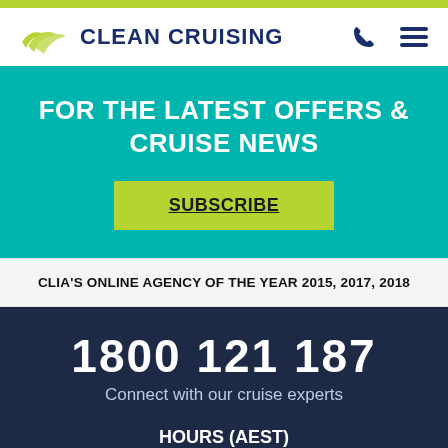Clean Cruising
FOR THE LATEST OFFERS & CRUISE NEWS
SUBSCRIBE
CLIA'S ONLINE AGENCY OF THE YEAR 2015, 2017, 2018
1800 121 187
Connect with our cruise experts
HOURS (AEST)
MON-FRI 8AM-5PM
SATURDAY 9AM-3PM